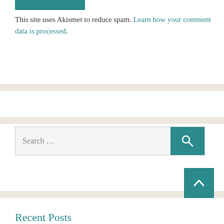[Figure (other): Teal/green rectangular button at top]
This site uses Akismet to reduce spam. Learn how your comment data is processed.
[Figure (other): Search bar with teal search button containing magnifying glass icon]
[Figure (other): Teal scroll-to-top button with upward chevron arrow]
Recent Posts